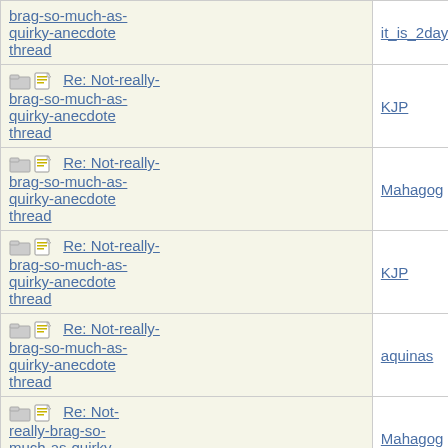| Subject | Author |
| --- | --- |
| Re: Not-really-brag-so-much-as-quirky-anecdote thread | it_is_2da... |
| Re: Not-really-brag-so-much-as-quirky-anecdote thread | KJP |
| Re: Not-really-brag-so-much-as-quirky-anecdote thread | Mahagog... |
| Re: Not-really-brag-so-much-as-quirky-anecdote thread | KJP |
| Re: Not-really-brag-so-much-as-quirky-anecdote thread | aquinas |
| Re: Not-really-brag-so-much-as-quirky-anecdote thread | Mahagog... |
| Re: Not-really-brag-so-much-as-quirky-anecdote thread | aquinas |